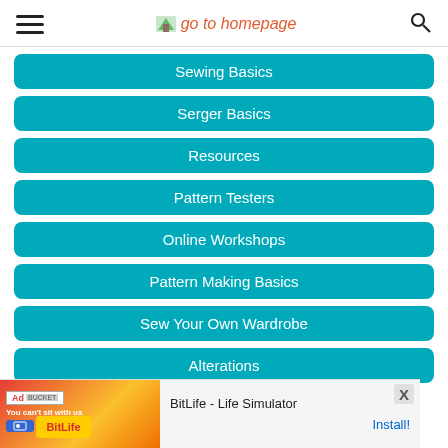go to homepage
Sewing Basics
Serger Basics
Resources
Pattern Testers
Online Workshops
Pattern Making Basics
Sew Your Own Wardrobe
Alterations
[Figure (screenshot): Advertisement banner for BitLife - Life Simulator app with colorful game imagery and Install! button]